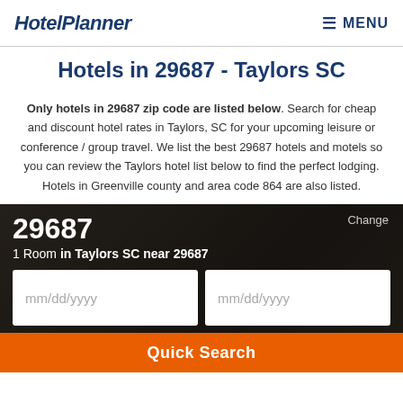HotelPlanner  ☰ MENU
Hotels in 29687 - Taylors SC
Only hotels in 29687 zip code are listed below. Search for cheap and discount hotel rates in Taylors, SC for your upcoming leisure or conference / group travel. We list the best 29687 hotels and motels so you can review the Taylors hotel list below to find the perfect lodging. Hotels in Greenville county and area code 864 are also listed.
Change
29687
1 Room in Taylors SC near 29687
mm/dd/yyyy
mm/dd/yyyy
Quick Search